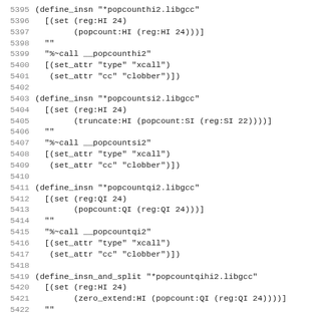Source code listing lines 5395-5426 showing define_insn and define_insn_and_split macros for popcounthi2.libgcc, popcountsi2.libgcc, popcountqi2.libgcc, and popcountqihi2.libgcc